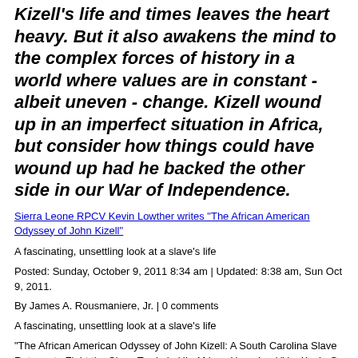Kizell's life and times leaves the heart heavy. But it also awakens the mind to the complex forces of history in a world where values are in constant - albeit uneven - change. Kizell wound up in an imperfect situation in Africa, but consider how things could have wound up had he backed the other side in our War of Independence.
Sierra Leone RPCV Kevin Lowther writes "The African American Odyssey of John Kizell"
A fascinating, unsettling look at a slave's life
Posted: Sunday, October 9, 2011 8:34 am | Updated: 8:38 am, Sun Oct 9, 2011.
By James A. Rousmaniere, Jr. | 0 comments
A fascinating, unsettling look at a slave's life
"The African American Odyssey of John Kizell: A South Carolina Slave Returns to Fight the Slave Trade in His African Homeland," by Kevin G. Lowther, University of South Carolina Press, 300 pages, $39.95.
This year's 150th anniversary commemoration of the Civil War has naturally focused on race, and has brought forth a number of biographies of slaves in mid-19th century America.